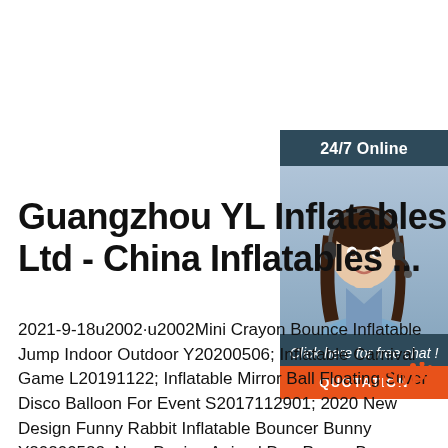[Figure (photo): Customer service representative woman with headset, with '24/7 Online' header, 'Click here for free chat!' text, and orange QUOTATION button on the right side panel]
Guangzhou YL Inflatables Ltd - China Inflatables ...
2021-9-18u2002·u2002Mini Crayon Bounce Inflatable Jump Indoor Outdoor Y20200506; Inflatable Carnival Game L20191122; Inflatable Mirror Ball Floating Sliver Disco Balloon For Event S2017112901; 2020 New Design Funny Rabbit Inflatable Bouncer Bunny Y20200522; New Design Animal Dog Puggy Bounce Castle Y20200423; Inflatable Pony Riding Games YL20180910D; ...